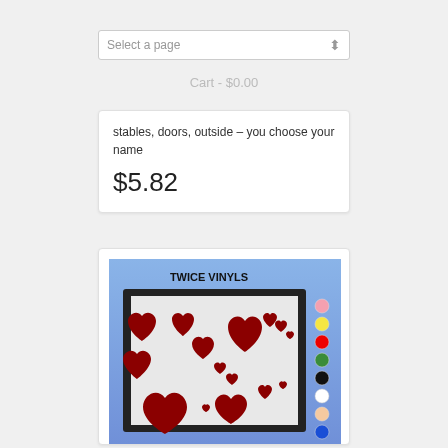Select a page
Cart - $0.00
stables, doors, outside – you choose your name
$5.82
[Figure (photo): Product image showing red heart vinyl stickers on a white sheet, branded TWICE VINYLS, with color dot swatches on the right side (pink, yellow, red, green, black, white, peach, blue, grey)]